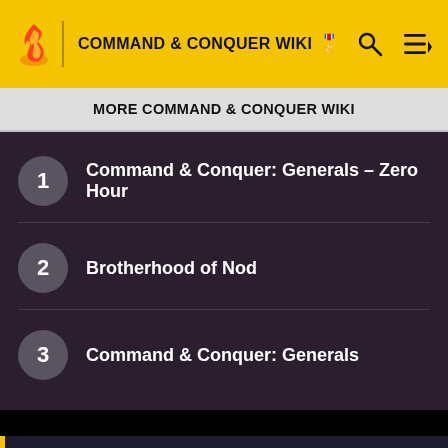COMMAND & CONQUER WIKI
MORE COMMAND & CONQUER WIKI
1  Command & Conquer: Generals – Zero Hour
2  Brotherhood of Nod
3  Command & Conquer: Generals
Welcome to the Command & Conquer Wiki! Log in and join the community.